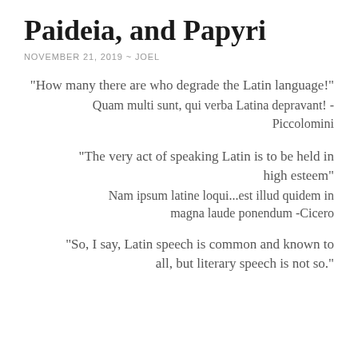Paideia, and Papyri
NOVEMBER 21, 2019 ~ JOEL
“How many there are who degrade the Latin language!”
Quam multi sunt, qui verba Latina depravant! -Piccolomini
“The very act of speaking Latin is to be held in high esteem”
Nam ipsum latine loqui...est illud quidem in magna laude ponendum -Cicero
“So, I say, Latin speech is common and known to all, but literary speech is not so.”